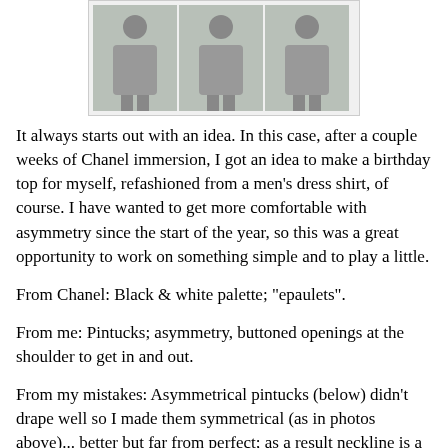[Figure (photo): Three photos side by side showing a person wearing a white top with black pants, in different poses]
It always starts out with an idea. In this case, after a couple weeks of Chanel immersion, I got an idea to make a birthday top for myself, refashioned from a men's dress shirt, of course. I have wanted to get more comfortable with asymmetry since the start of the year, so this was a great opportunity to work on something simple and to play a little.
From Chanel: Black & white palette; "epaulets".
From me: Pintucks; asymmetry, buttoned openings at the shoulder to get in and out.
From my mistakes: Asymmetrical pintucks (below) didn't drape well so I made them symmetrical (as in photos above)... better but far from perfect; as a result neckline is a little poochy; cut the armholes way too low, so little cap sleeves were not an option; changed my mind about how I would use the shirt placket so there are no pintucks on the back; just an inverted pleat (sorry, no pics).